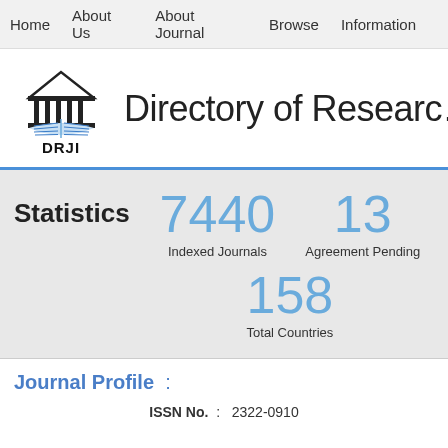Home   About Us   About Journal   Browse   Information
[Figure (logo): DRJI logo: classical building with columns above an open book, with blue horizontal lines representing pages. Text 'DRJI' below.]
Directory of Research
Statistics   7440 Indexed Journals   13 Agreement Pending   158 Total Countries
Journal Profile :
ISSN No. : 2322-0910